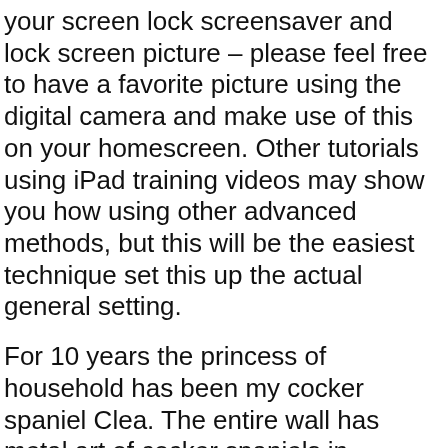your screen lock screensaver and lock screen picture – please feel free to have a favorite picture using the digital camera and make use of this on your homescreen. Other tutorials using iPad training videos may show you how using other advanced methods, but this will be the easiest technique set this up the actual general setting.
For 10 years the princess of household has been my cocker spaniel Clea. The entire wall has metal art of cocker spaniels in addition to the center is a cocker spaniel Calendar Wallpaper. This calendar besides being beautiful has my activities and special dates to assist me get with day.
Write out your Purpose and post it everywhere. Stuff it with your sock drawer so it'll surprise you when you least expect it. Definitely stick it on your